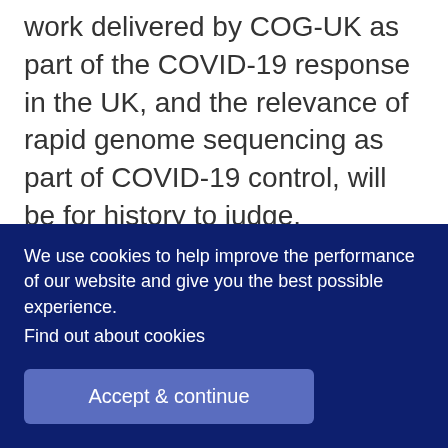work delivered by COG-UK as part of the COVID-19 response in the UK, and the relevance of rapid genome sequencing as part of COVID-19 control, will be for history to judge.
Next steps for the Consortium
We have just been awarded a further £12.2M from the
We use cookies to help improve the performance of our website and give you the best possible experience. Find out about cookies
Accept & continue